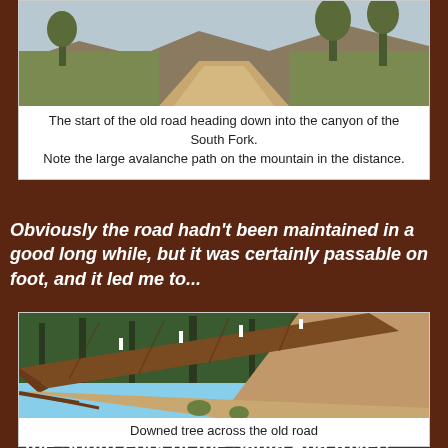[Figure (photo): Trail/dirt road heading down toward a canyon with dry brush and trees on both sides, mountains visible in background]
The start of the old road heading down into the canyon of the South Fork.
Note the large avalanche path on the mountain in the distance.
Obviously the road hadn't been maintained in a good long while, but it was certainly passable on foot, and it led me to...
[Figure (photo): A large downed tree trunk lying diagonally across an old dirt road on a hillside, with pine trees in the background]
Downed tree across the old road
...the South Fork of the Santa Ana River!
[Figure (photo): Partial view of the South Fork of the Santa Ana River area, cut off at bottom of page]